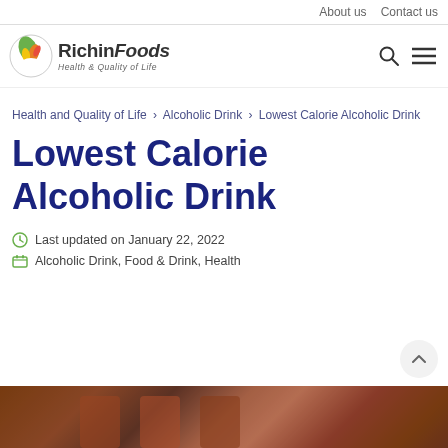About us  Contact us
[Figure (logo): RichinFoods logo with colorful leaf/vegetable icon and tagline 'Health & Quality of Life']
Health and Quality of Life > Alcoholic Drink > Lowest Calorie Alcoholic Drink
Lowest Calorie Alcoholic Drink
Last updated on January 22, 2022
Alcoholic Drink, Food & Drink, Health
[Figure (photo): Background photo of what appears to be alcoholic drinks or barrels in warm brown tones]